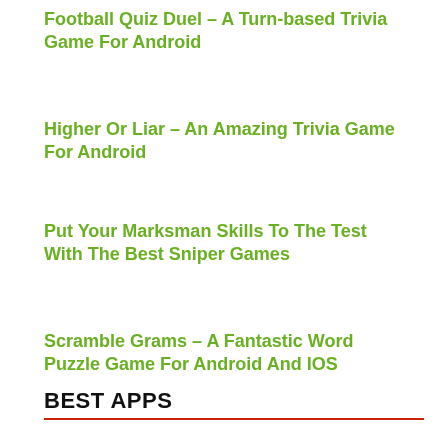Football Quiz Duel – A Turn-based Trivia Game For Android
Higher Or Liar – An Amazing Trivia Game For Android
Put Your Marksman Skills To The Test With The Best Sniper Games
Scramble Grams – A Fantastic Word Puzzle Game For Android And IOS
BEST APPS